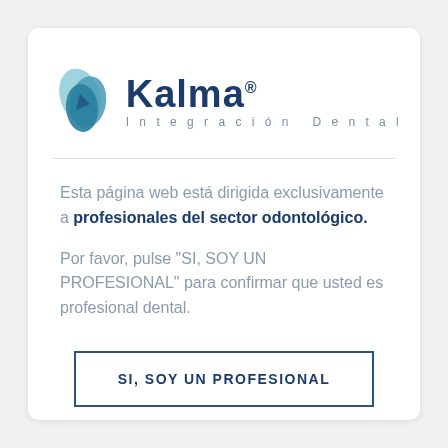[Figure (logo): Kalma Integración Dental logo — two overlapping teal/blue leaf-like shapes on the left, with 'Kalma®' in large dark navy bold text and 'Integración Dental' in small spaced gray text below]
Esta página web está dirigida exclusivamente a profesionales del sector odontológico.
Por favor, pulse "SI, SOY UN PROFESIONAL" para confirmar que usted es profesional dental.
SI, SOY UN PROFESIONAL